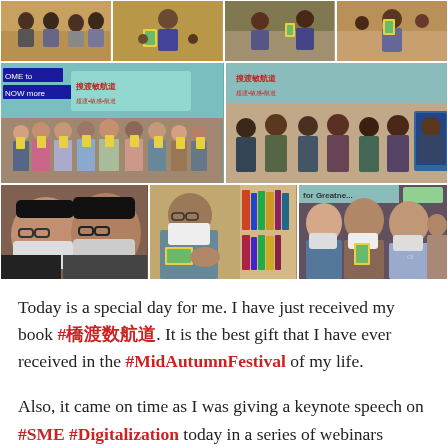[Figure (photo): Collage of multiple photos showing groups of people wearing masks, holding books, at what appears to be a seminar or event. Photos arranged in three rows: top row has 4 small photos, middle row has 2 larger photos (group holding books on left, panel discussion on right), bottom row has 3 photos.]
Today is a special day for me. I have just received my book #橋渡数航道. It is the best gift that I have ever received in the #MidAutumnFestival of my life.
Also, it came on time as I was giving a keynote speech on #SME #Digitalization today in a series of webinars